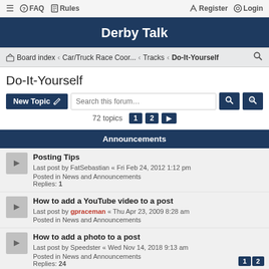≡  FAQ  Rules  Register  Login
Derby Talk
Board index › Car/Truck Race Coor... › Tracks › Do-It-Yourself
Do-It-Yourself
New Topic  Search this forum…  72 topics  1  2  ►
Announcements
Posting Tips
Last post by FatSebastian « Fri Feb 24, 2012 1:12 pm
Posted in News and Announcements
Replies: 1
How to add a YouTube video to a post
Last post by gpraceman « Thu Apr 23, 2009 8:28 am
Posted in News and Announcements
How to add a photo to a post
Last post by Speedster « Wed Nov 14, 2018 9:13 am
Posted in News and Announcements
Replies: 24
1  2